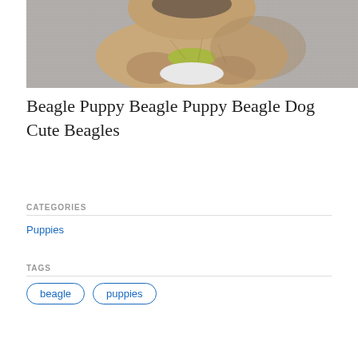[Figure (photo): Close-up photo of a beagle puppy lying on a grey surface, with a yellow/green toy or item visible underneath its paws, and a white item near its face.]
Beagle Puppy Beagle Puppy Beagle Dog Cute Beagles
CATEGORIES
Puppies
TAGS
beagle
puppies